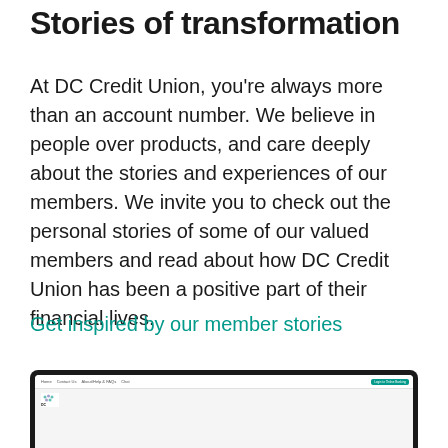Stories of transformation
At DC Credit Union, you’re always more than an account number. We believe in people over products, and care deeply about the stories and experiences of our members. We invite you to check out the personal stories of some of our valued members and read about how DC Credit Union has been a positive part of their financial lives.
Get inspired by our member stories
[Figure (screenshot): Partial view of a laptop screen showing the DC Credit Union website with logo and navigation bar including a teal 'Login to Online Banking' button.]